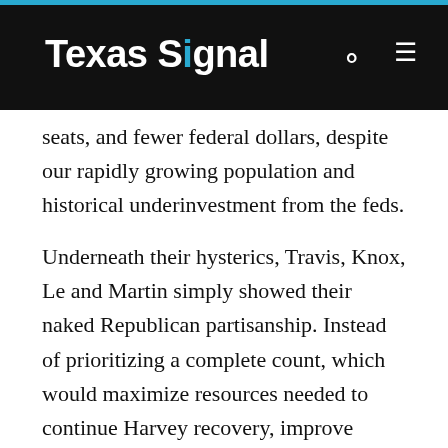Texas Signal
seats, and fewer federal dollars, despite our rapidly growing population and historical underinvestment from the feds.
Underneath their hysterics, Travis, Knox, Le and Martin simply showed their naked Republican partisanship. Instead of prioritizing a complete count, which would maximize resources needed to continue Harvey recovery, improve traffic mobility and educate kids, these guys are worried some brown person might get registered to vote during the Census process.